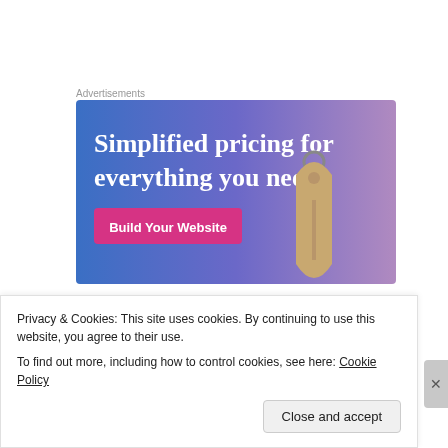Advertisements
[Figure (illustration): Advertisement banner with blue-to-purple gradient background. Large white serif text reads 'Simplified pricing for everything you need.' A pink/magenta button labeled 'Build Your Website' is shown on the left. A tan/brown price tag with a metal ring is shown on the right side of the banner.]
Directions:
Privacy & Cookies: This site uses cookies. By continuing to use this website, you agree to their use.
To find out more, including how to control cookies, see here: Cookie Policy
Close and accept